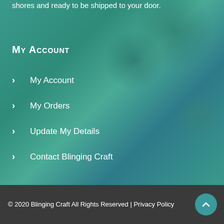shores and ready to be shipped to your door.
My Account
My Account
My Orders
Update My Details
Contact Blinging Craft
© 2020 Blinging Craft All Rights Reserved | Privacy Policy